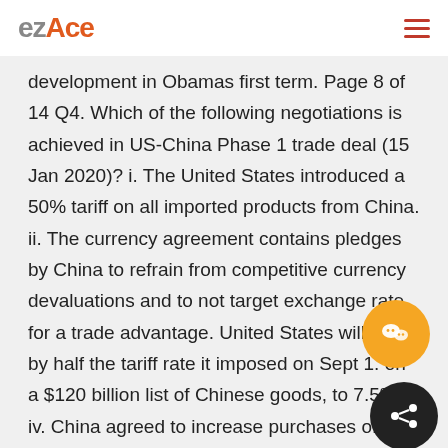ezAce
development in Obamas first term. Page 8 of 14 Q4. Which of the following negotiations is achieved in US-China Phase 1 trade deal (15 Jan 2020)? i. The United States introduced a 50% tariff on all imported products from China. ii. The currency agreement contains pledges by China to refrain from competitive currency devaluations and to not target exchange rate for a trade advantage. United States will cut by half the tariff rate it imposed on Sept 1. on a $120 billion list of Chinese goods, to 7.5%. iv. China agreed to increase purchases of American products and services by at least $200 billion over the